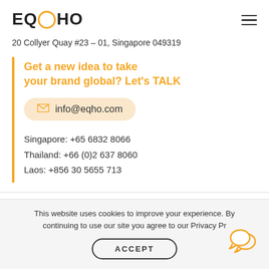EQHO
20 Collyer Quay #23 – 01, Singapore 049319
Get a new idea to take your brand global? Let's TALK
info@eqho.com
Singapore: +65 6832 8066
Thailand: +66 (0)2 637 8060
Laos: +856 30 5655 713
LOCALIZATION SERVICES
This website uses cookies to improve your experience. By continuing to use our site you agree to our Privacy Pr
ACCEPT